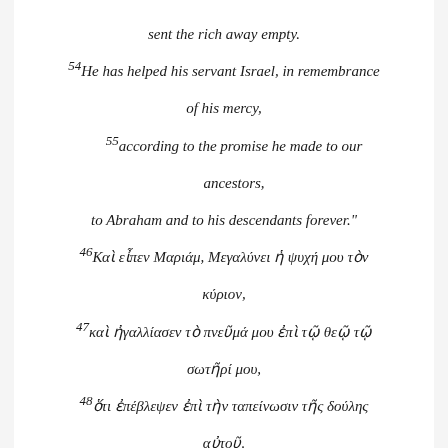sent the rich away empty.
54He has helped his servant Israel, in remembrance of his mercy,
55according to the promise he made to our ancestors,
to Abraham and to his descendants forever.”
46Καὶ εἶπεν Μαριάμ, Μεγαλύνει ἡ ψυχή μου τὸν κύριον,
47καὶ ἠγαλλίασεν τὸ πνεῦμά μου ἐπὶ τῷ θεῷ τῷ σωτῆρί μου,
48ὅτι ἐπέβλεψεν ἐπὶ τὴν ταπείνωσιν τῆς δούλης αὐτοῦ. ἰδοὺγὰρ ἀπὸ τοῦ νῦν μακαριοῦσίν με πᾶσαι αἱ γενεαί:
49ὅτι ἐποίησένμοι μεγάλα ὁ δυνατός, καὶ ἅγιον τὸ ὔνομα αὐτοῦ,